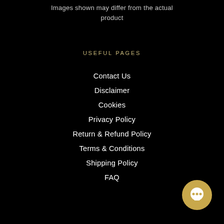Images shown may differ from the actual product
USEFUL PAGES
Contact Us
Disclaimer
Cookies
Privacy Policy
Return & Refund Policy
Terms & Conditions
Shipping Policy
FAQ
[Figure (illustration): Gold circular chat bubble button in lower right corner]